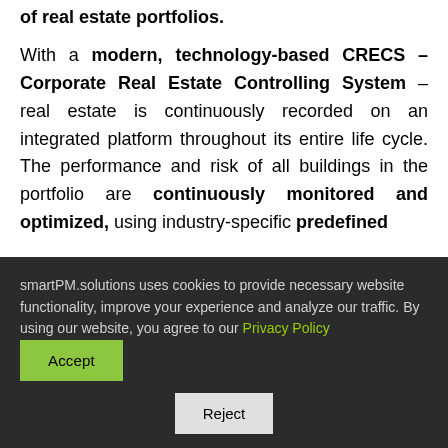of real estate portfolios.
With a modern, technology-based CRECS – Corporate Real Estate Controlling System – real estate is continuously recorded on an integrated platform throughout its entire life cycle. The performance and risk of all buildings in the portfolio are continuously monitored and optimized, using industry-specific predefined
smartPM.solutions uses cookies to provide necessary website functionality, improve your experience and analyze our traffic. By using our website, you agree to our Privacy Policy Accept Reject